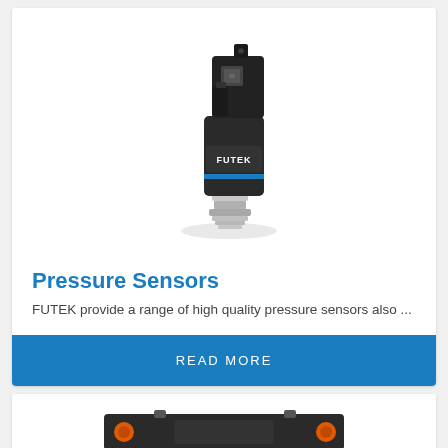[Figure (photo): FUTEK pressure sensor – a small black cylindrical sensor with threaded metal base and rectangular connector housing marked with FUTEK logo and a blue accent line]
Pressure Sensors
FUTEK provide a range of high quality pressure sensors also ...
READ MORE
[Figure (photo): Partial view of another FUTEK sensor product at the bottom of the page, showing orange accent elements on a dark rectangular body]